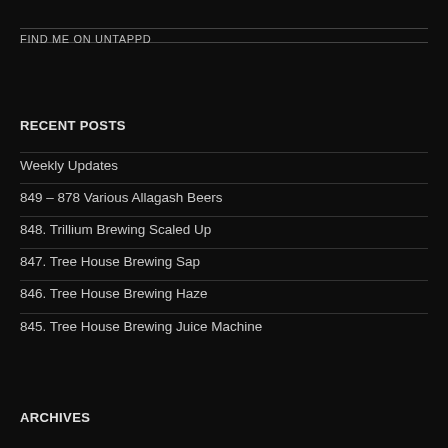FIND ME ON UNTAPPD
RECENT POSTS
Weekly Updates
849 – 878 Various Allagash Beers
848. Trillium Brewing Scaled Up
847. Tree House Brewing Sap
846. Tree House Brewing Haze
845. Tree House Brewing Juice Machine
ARCHIVES